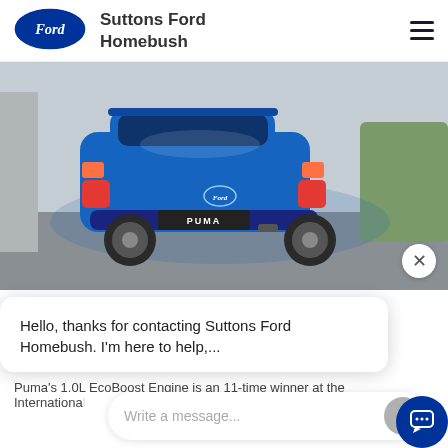[Figure (logo): Ford oval blue logo]
Suttons Ford Homebush
[Figure (photo): Rear three-quarter view of a blue Ford Puma SUV driving on a road]
[Figure (screenshot): Chat widget overlay with message: Hello, thanks for contacting Suttons Ford Homebush. I'm here to help,... and a write a message input field]
Puma's 1.0L EcoBoost Engine is an 11-time winner at the International...